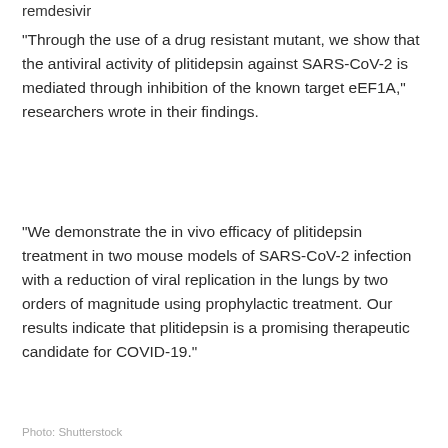remdesivir
“Through the use of a drug resistant mutant, we show that the antiviral activity of plitidepsin against SARS-CoV-2 is mediated through inhibition of the known target eEF1A,” researchers wrote in their findings.
“We demonstrate the in vivo efficacy of plitidepsin treatment in two mouse models of SARS-CoV-2 infection with a reduction of viral replication in the lungs by two orders of magnitude using prophylactic treatment. Our results indicate that plitidepsin is a promising therapeutic candidate for COVID-19.”
Photo: Shutterstock